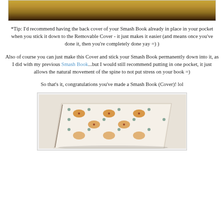[Figure (photo): Top portion of a photo showing what appears to be a wooden surface or book cover with warm golden/brown tones]
*Tip: I'd recommend having the back cover of your Smash Book already in place in your pocket when you stick it down to the Removable Cover - it just makes it easier (and means once you've done it, then you're completely done yay =) )
Also of course you can just make this Cover and stick your Smash Book permanently down into it, as I did with my previous Smash Book...but I would still recommend putting in one pocket, it just allows the natural movement of the spine to not put stress on your book =)
So that's it, congratulations you've made a Smash Book (Cover)! lol
[Figure (photo): Photo of a completed Smash Book cover with decorative patterned fabric/paper in cream, orange and teal floral/geometric pattern, shown at an angle on a light surface. Watermark reads zezanilezankle.blogspot.com]